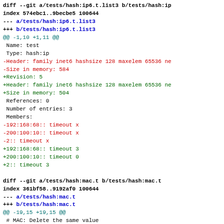diff --git a/tests/hash:ip6.t.list3 b/tests/hash:ip6.t.list3
index 574ebc1..9becbe5 100644
--- a/tests/hash:ip6.t.list3
+++ b/tests/hash:ip6.t.list3
@@ -1,10 +1,11 @@
 Name: test
 Type: hash:ip
-Header: family inet6 hashsize 128 maxelem 65536 ne
-Size in memory: 584
+Revision: 5
+Header: family inet6 hashsize 128 maxelem 65536 ne
+Size in memory: 504
 References: 0
 Number of entries: 3
 Members:
-192:168:68:: timeout x
-200:100:10:: timeout x
-2:: timeout x
+192:168:68:: timeout 3
+200:100:10:: timeout 0
+2:: timeout 3

diff --git a/tests/hash:mac.t b/tests/hash:mac.t
index 361bf58..9192af0 100644
--- a/tests/hash:mac.t
+++ b/tests/hash:mac.t
@@ -19,15 +19,15 @@
 # MAC: Delete the same value
 0 ipset -D test 1:2:3:4:a:b
 # MAC: List set
 0 ipset ...
diff --git a/tests/hash:mac.t b/tests/hash:mac.t